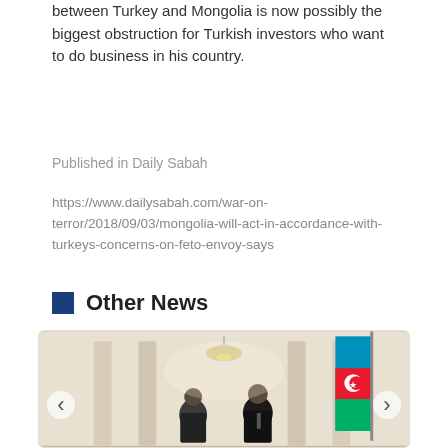between Turkey and Mongolia is now possibly the biggest obstruction for Turkish investors who want to do business in his country.
Published in Daily Sabah
https://www.dailysabah.com/war-on-terror/2018/09/03/mongolia-will-act-in-accordance-with-turkeys-concerns-on-feto-envoy-says
Other News
[Figure (photo): Two individuals standing in a formal reception room with white walls and columns; an Azerbaijani flag (blue, red, green with white crescent and star) is visible on the right side; a chandelier hangs in the background.]
2022-08-18
H.E. MR. MUNKHBAYAR GOMBOSUREN, AMBASSADOR OF MONGOLIA TO THE REPUBLIC OF AZERBAIJAN